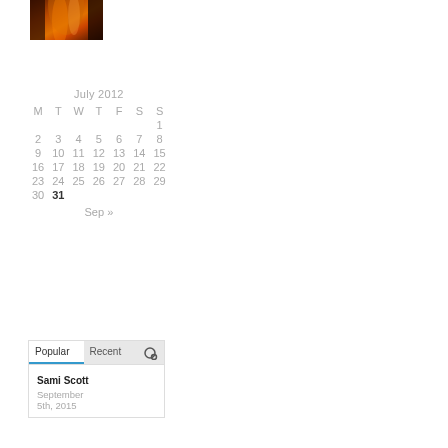[Figure (photo): Small thumbnail photo showing a canyon or rock formation with orange/red warm tones, likely Antelope Canyon]
| M | T | W | T | F | S | S |
| --- | --- | --- | --- | --- | --- | --- |
|  |  |  |  |  |  | 1 |
| 2 | 3 | 4 | 5 | 6 | 7 | 8 |
| 9 | 10 | 11 | 12 | 13 | 14 | 15 |
| 16 | 17 | 18 | 19 | 20 | 21 | 22 |
| 23 | 24 | 25 | 26 | 27 | 28 | 29 |
| 30 | 31 |  |  |  |  |  |
Sep »
Popular | Recent | Comments icon
Sami Scott
September 5th, 2015